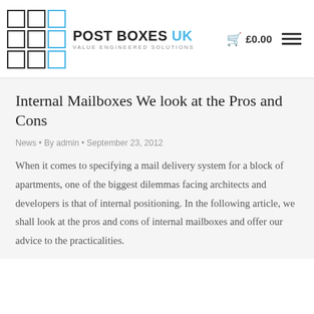Post Boxes UK — VALUE ENGINEERED SOLUTIONS | £0.00
Internal Mailboxes We look at the Pros and Cons
News • By admin • September 23, 2012
When it comes to specifying a mail delivery system for a block of apartments, one of the biggest dilemmas facing architects and developers is that of internal positioning. In the following article, we shall look at the pros and cons of internal mailboxes and offer our advice to the practicalities.